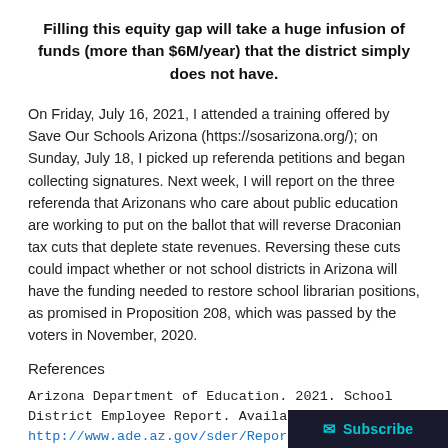Filling this equity gap will take a huge infusion of funds (more than $6M/year) that the district simply does not have.
On Friday, July 16, 2021, I attended a training offered by Save Our Schools Arizona (https://sosarizona.org/); on Sunday, July 18, I picked up referenda petitions and began collecting signatures. Next week, I will report on the three referenda that Arizonans who care about public education are working to put on the ballot that will reverse Draconian tax cuts that deplete state revenues. Reversing these cuts could impact whether or not school districts in Arizona will have the funding needed to restore school librarian positions, as promised in Proposition 208, which was passed by the voters in November, 2020.
References
Arizona Department of Education. 2021. School District Employee Report. Available at http://www.ade.az.gov/sder/ReportGenerationPubli